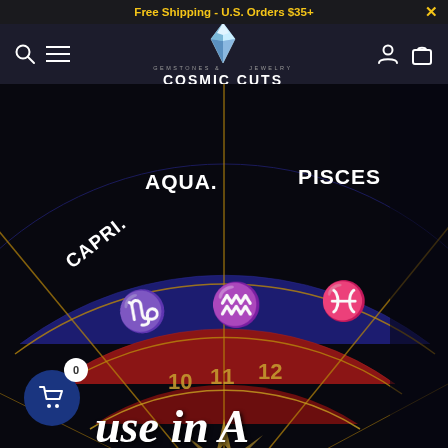Free Shipping - U.S. Orders $35+
[Figure (logo): Cosmic Cuts gemstones and jewelry logo with crystal graphic, search icon, menu icon, account icon, and bag icon]
[Figure (photo): Zodiac wheel showing CAPRI., AQUA., PISCES segments with gold zodiac symbols on red and navy background, with numbers 10, 11, 12. Script text 'use in A' visible at bottom. Cart button with badge showing 0 in lower left.]